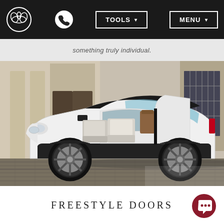[Figure (screenshot): Website navigation bar with Mazda logo, phone icon, TOOLS dropdown button, and MENU dropdown button on dark background]
something truly individual.
[Figure (photo): White Mazda MX-30 SUV with freestyle (suicide) doors open, showing interior white seats and a brown bag, parked on cobblestone in front of a classical building]
FREESTYLE DOORS